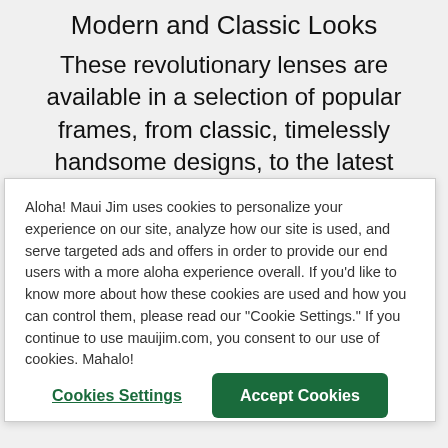Modern and Classic Looks
These revolutionary lenses are available in a selection of popular frames, from classic, timelessly handsome designs, to the latest modern styles. Find a look that matches your
Aloha! Maui Jim uses cookies to personalize your experience on our site, analyze how our site is used, and serve targeted ads and offers in order to provide our end users with a more aloha experience overall. If you'd like to know more about how these cookies are used and how you can control them, please read our "Cookie Settings." If you continue to use mauijim.com, you consent to our use of cookies. Mahalo!
Cookies Settings
Accept Cookies